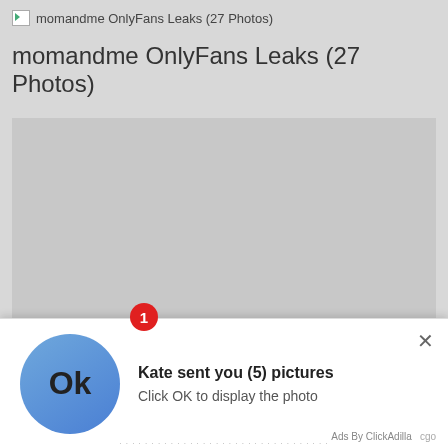momandme OnlyFans Leaks (27 Photos)
momandme OnlyFans Leaks (27 Photos)
[Figure (photo): Large gray placeholder image area]
[Figure (screenshot): Ad popup notification: 'Kate sent you (5) pictures - Click OK to display the photo' with blue circle OK button icon, red badge showing 1, close X button, and 'Ads By ClickAdilla' footer]